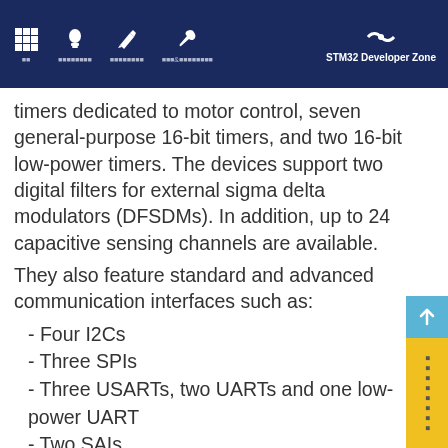STM32 Developer Zone
timers dedicated to motor control, seven general-purpose 16-bit timers, and two 16-bit low-power timers. The devices support two digital filters for external sigma delta modulators (DFSDMs). In addition, up to 24 capacitive sensing channels are available.
They also feature standard and advanced communication interfaces such as:
- Four I2Cs
- Three SPIs
- Three USARTs, two UARTs and one low-power UART
- Two SAIs
- Two SDMMCs
- One CAN
- One USB OTG full-speed
- Camera interface
- Synchronous parallel data interface (PSSI)